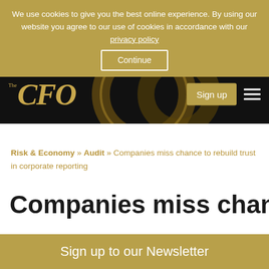We use cookies to give you the best online experience. By using our website you agree to our use of cookies in accordance with our privacy policy. Continue
[Figure (logo): The CFO magazine logo in gold italic serif font on black background]
Risk & Economy » Audit » Companies miss chance to rebuild trust in corporate reporting
Companies miss chance
Sign up to our Newsletter